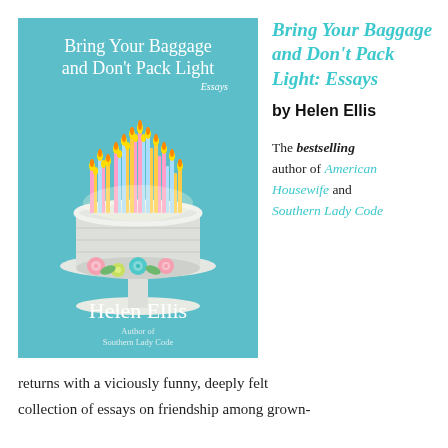[Figure (illustration): Book cover for 'Bring Your Baggage and Don't Pack Light: Essays' by Helen Ellis, featuring a white tiered cake with many lit candles on a cake stand against a teal/cyan background, with colorful flower decorations. Author name displayed at bottom of cover.]
Bring Your Baggage and Don't Pack Light: Essays by Helen Ellis
The bestselling author of American Housewife and Southern Lady Code returns with a viciously funny, deeply felt collection of essays on friendship among grown-